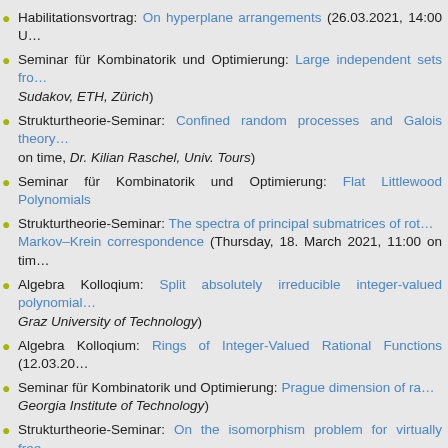Habilitationsvortrag: On hyperplane arrangements (26.03.2021, 14:00 U…
Seminar für Kombinatorik und Optimierung: Large independent sets fro… Sudakov, ETH, Zürich)
Strukturtheorie-Seminar: Confined random processes and Galois theory… on time, Dr. Kilian Raschel, Univ. Tours)
Seminar für Kombinatorik und Optimierung: Flat Littlewood Polynomials
Strukturtheorie-Seminar: The spectra of principal submatrices of rot… Markov–Krein correspondence (Thursday, 18. March 2021, 11:00 on tim…
Algebra Kolloqium: Split absolutely irreducible integer-valued polynomial… Graz University of Technology)
Algebra Kolloqium: Rings of Integer-Valued Rational Functions (12.03.20…
Seminar für Kombinatorik und Optimierung: Prague dimension of ra… Georgia Institute of Technology)
Strukturtheorie-Seminar: On the isomorphism problem for virtually free… Armin Weiß, Institut für Formale Methoden der Informatik, Univ. Stuttgar…
Seminar für Kombinatorik und Optimierung: Knights and Liars on Grap… Competence Center Leoben)
Seminar für Kombinatorik und Optimierung: On the complexity of the b… (on time), Dorothee Henke, University of Dortmund)
Seminar für Kombinatorik und Optimierung: Robust Combinatorial Op… 10:00 (on time), Stefan Lendl, University of Graz)
Postponed - Strukturtheorie-Seminar: TALK POSTPONED Causal dis… 4.Feb 2021, 11:00 on time, Prof. András Telcs, TU Budapest and Univ. V…
Seminar für Kombinatorik und Optimierung: The Erdos-Hajnal conjec…